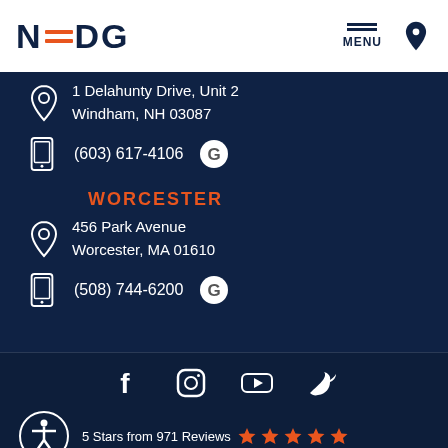[Figure (logo): NEDG logo with orange horizontal lines between N and DG, dark navy text]
[Figure (other): Hamburger menu icon with MENU label and location pin icon in header]
1 Delahunty Drive, Unit 2
Windham, NH 03087
(603) 617-4106
WORCESTER
456 Park Avenue
Worcester, MA 01610
(508) 744-6200
[Figure (other): Social media icons: Facebook, Instagram, YouTube, Twitter]
5 Stars from 971 Reviews